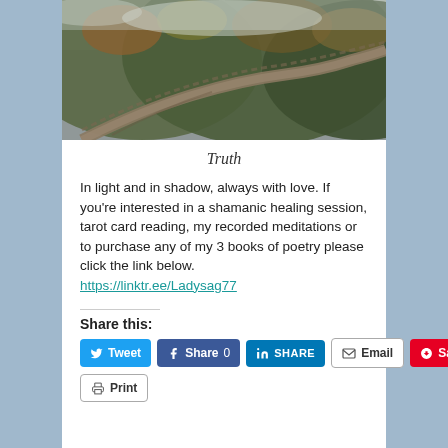[Figure (photo): Photograph of the Great Wall of China winding through misty, forested mountains with autumn foliage]
Truth
In light and in shadow, always with love. If you're interested in a shamanic healing session, tarot card reading, my recorded meditations or to purchase any of my 3 books of poetry please click the link below.
https://linktr.ee/Ladysag77
Share this:
Tweet | Share 0 | SHARE | Email | Save
Print